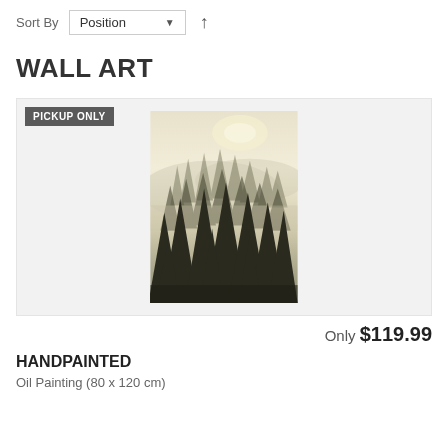Sort By   Position ▼ ↑
WALL ART
[Figure (photo): A handpainted oil painting depicting a misty forest with tall evergreen pine trees in dark greens and browns against a pale foggy background with light sky above. Badge reads PICKUP ONLY.]
Only $119.99
HANDPAINTED
Oil Painting (80 x 120 cm)